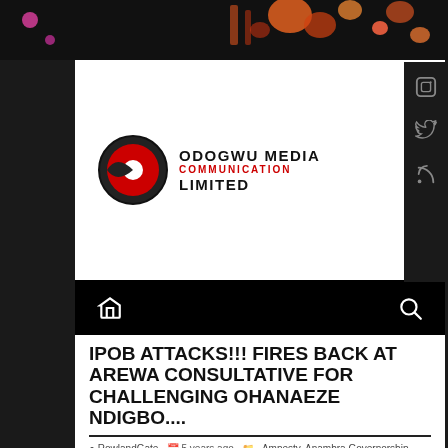[Figure (logo): Odogwu Media Communication Limited logo — circular red and black emblem with company name in bold black and red text]
IPOB ATTACKS!!! FIRES BACK AT AREWA CONSULTATIVE FOR CHALLENGING OHANAEZE NDIGBO....
RowlandGate  5 years ago  Amnesty, Anambra Governorship election, Anambra House of Representatives, APC, APGA. PDP, BBC News, Biafra, CNN, Crime, House of Assembly, Igbos, INTERSOCIETY, IPOB, Music, PDP, peace keeping